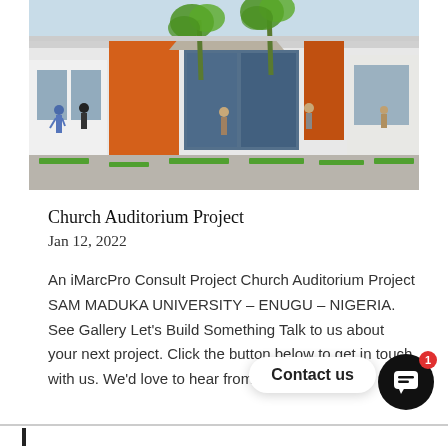[Figure (illustration): Architectural rendering of a modern church auditorium building with white facade, large orange accent panels, glass windows, palm trees, and people walking in the plaza]
Church Auditorium Project
Jan 12, 2022
An iMarcPro Consult Project Church Auditorium Project SAM MADUKA UNIVERSITY – ENUGU – NIGERIA. See Gallery Let's Build Something Talk to us about your next project. Click the button below to get in touch with us. We'd love to hear from you!...
Contact us